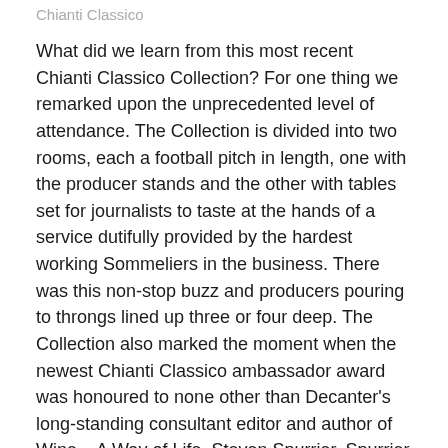Chianti Classico
What did we learn from this most recent Chianti Classico Collection? For one thing we remarked upon the unprecedented level of attendance. The Collection is divided into two rooms, each a football pitch in length, one with the producer stands and the other with tables set for journalists to taste at the hands of a service dutifully provided by the hardest working Sommeliers in the business. There was this non-stop buzz and producers pouring to throngs lined up three or four deep. The Collection also marked the moment when the newest Chianti Classico ambassador award was honoured to none other than Decanter's long-standing consultant editor and author of Wine – A Way of Life, Steven Spurrier. Spurrier joins the 2018 list and inaugural first five CC ambasciatori; Jeffrey Porter, Michaela Morris, Massimo